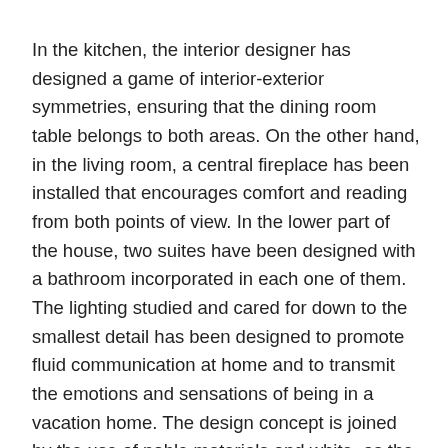In the kitchen, the interior designer has designed a game of interior-exterior symmetries, ensuring that the dining room table belongs to both areas. On the other hand, in the living room, a central fireplace has been installed that encourages comfort and reading from both points of view. In the lower part of the house, two suites have been designed with a bathroom incorporated in each one of them. The lighting studied and cared for down to the smallest detail has been designed to promote fluid communication at home and to transmit the emotions and sensations of being in a vacation home. The design concept is joined by the use of noble materials and white, as the undisputed hallmark of the studio led by Susanna Cots."